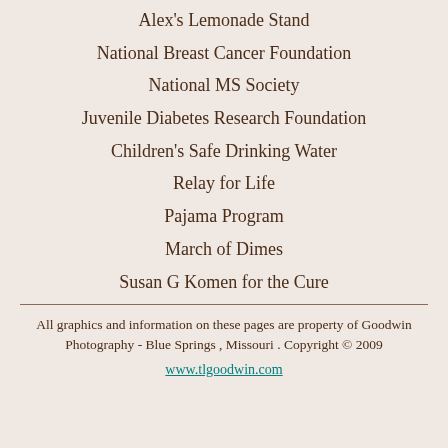Alex's Lemonade Stand
National Breast Cancer Foundation
National MS Society
Juvenile Diabetes Research Foundation
Children's Safe Drinking Water
Relay for Life
Pajama Program
March of Dimes
Susan G Komen for the Cure
All graphics and information on these pages are property of Goodwin Photography - Blue Springs , Missouri . Copyright © 2009
www.tlgoodwin.com